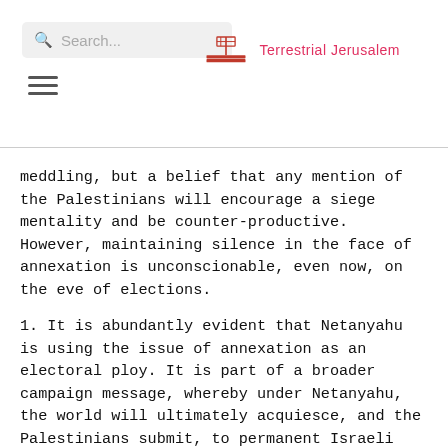Search... | Terrestrial Jerusalem
meddling, but a belief that any mention of the Palestinians will encourage a siege mentality and be counter-productive. However, maintaining silence in the face of annexation is unconscionable, even now, on the eve of elections.
1. It is abundantly evident that Netanyahu is using the issue of annexation as an electoral ploy. It is part of a broader campaign message, whereby under Netanyahu, the world will ultimately acquiesce, and the Palestinians submit, to permanent Israeli control over the West Bank. Netanyahu has successfully enlisted the support of Trump, Putin and some European leaders, among else, to prove as much to the Israeli public. Failing to express deep concern over potential annexation is tantamount to joining these